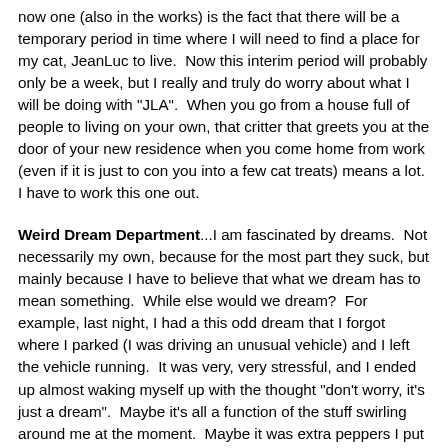now one (also in the works) is the fact that there will be a temporary period in time where I will need to find a place for my cat, JeanLuc to live.  Now this interim period will probably only be a week, but I really and truly do worry about what I will be doing with "JLA".  When you go from a house full of people to living on your own, that critter that greets you at the door of your new residence when you come home from work (even if it is just to con you into a few cat treats) means a lot.  I have to work this one out.
Weird Dream Department...I am fascinated by dreams.  Not necessarily my own, because for the most part they suck, but mainly because I have to believe that what we dream has to mean something.  While else would we dream?  For example, last night, I had a this odd dream that I forgot where I parked (I was driving an unusual vehicle) and I left the vehicle running.  It was very, very stressful, and I ended up almost waking myself up with the thought "don't worry, it's just a dream".  Maybe it's all a function of the stuff swirling around me at the moment.  Maybe it was extra peppers I put in last night's dinner.  Maybe I'm simply going mad.  Wait, scratch that last one, as while I know I'm an odd duck, crazy isn't one of my characteristics.  If anything, there are times